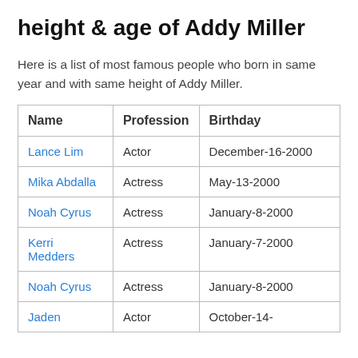height & age of Addy Miller
Here is a list of most famous people who born in same year and with same height of Addy Miller.
| Name | Profession | Birthday |
| --- | --- | --- |
| Lance Lim | Actor | December-16-2000 |
| Mika Abdalla | Actress | May-13-2000 |
| Noah Cyrus | Actress | January-8-2000 |
| Kerri Medders | Actress | January-7-2000 |
| Noah Cyrus | Actress | January-8-2000 |
| Jaden | Actor | October-14- |